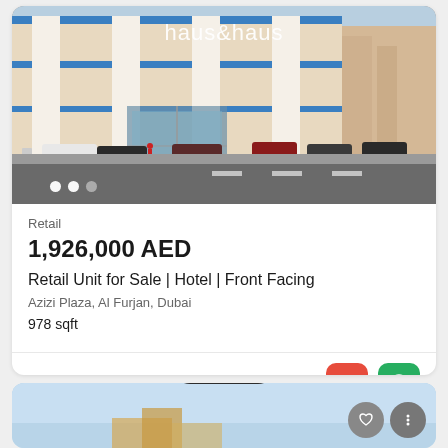[Figure (photo): Street-level photo of a modern mixed-use building with white and blue facade, commercial ground floor with glass entrance, parking area with cars in front. Haus & Haus watermark overlay visible at top center. Image carousel dots at bottom left.]
Retail
1,926,000 AED
Retail Unit for Sale | Hotel | Front Facing
Azizi Plaza, Al Furjan, Dubai
978 sqft
Listed 3 months ago
[Figure (screenshot): Map button overlay (dark pill shape reading 'Map' with location pin icon), and partial view of a second property card below with light blue sky background, heart icon button and three-dot menu button.]